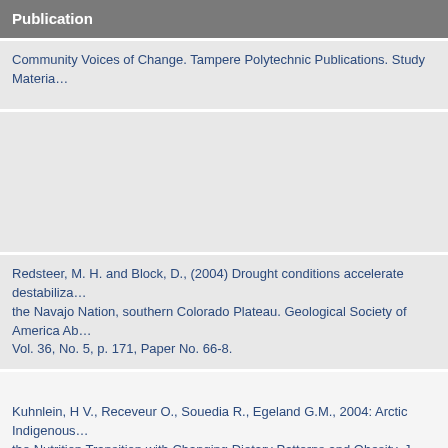| Publication |
| --- |
| Community Voices of Change. Tampere Polytechnic Publications. Study Materia… |
| Redsteer, M. H. and Block, D., (2004) Drought conditions accelerate destabiliza… the Navajo Nation, southern Colorado Plateau. Geological Society of America Ab… Vol. 36, No. 5, p. 171, Paper No. 66-8. |
| Kuhnlein, H V., Receveur O., Souedia R., Egeland G.M., 2004: Arctic Indigenous… the Nutrition Transition with Changing Dietary Patterns and Obesity. J. Nutr. Jun… 1447-1453 |
| Smith, Linda Tuhiwai 2004 Decolonizing Methodologies: Research and Indigeno… Zed Books Ltd. |
|  |